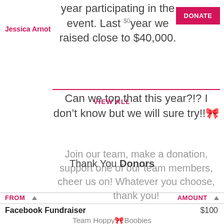Jessica Arnot
year participating in the event. Last $0year we raised close to $40,000.
DONATE
VIEW ALL
Can we top that this year?!? I don't know but we will sure try!!🎀
Thank You Donors
Join our team, make a donation, support one of our team members, cheer us on! Whatever you choose, thank you!
FROM ▲
AMOUNT ▲
Facebook Fundraiser
$100
Team Hoppy🎀Boobies
Facebook Fundraiser
$50